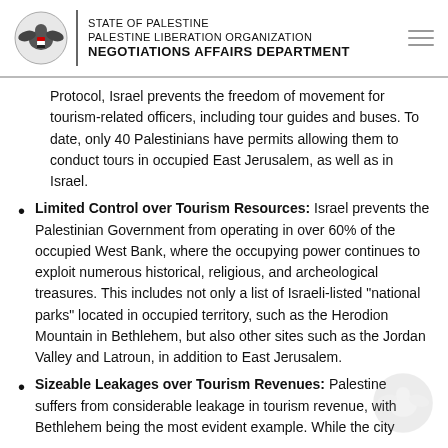STATE OF PALESTINE
PALESTINE LIBERATION ORGANIZATION
NEGOTIATIONS AFFAIRS DEPARTMENT
Protocol, Israel prevents the freedom of movement for tourism-related officers, including tour guides and buses. To date, only 40 Palestinians have permits allowing them to conduct tours in occupied East Jerusalem, as well as in Israel.
Limited Control over Tourism Resources: Israel prevents the Palestinian Government from operating in over 60% of the occupied West Bank, where the occupying power continues to exploit numerous historical, religious, and archeological treasures. This includes not only a list of Israeli-listed "national parks" located in occupied territory, such as the Herodion Mountain in Bethlehem, but also other sites such as the Jordan Valley and Latroun, in addition to East Jerusalem.
Sizeable Leakages over Tourism Revenues: Palestine suffers from considerable leakage in tourism revenue, with Bethlehem being the most evident example. While the city